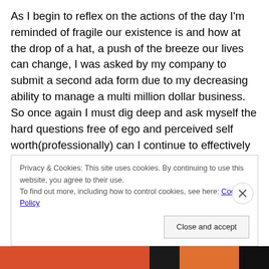As I begin to reflex on the actions of the day I'm reminded of fragile our existence is and how at the drop of a hat, a push of the breeze our lives can change, I was asked by my company to submit a second ada form due to my decreasing ability to manage a multi million dollar business. So once again I must dig deep and ask myself the hard questions free of ego and perceived self worth(professionally) can I continue to effectively do this and at what cost, emotionally and physically. If I was a wealthy man I would just be done but for me that is not an option. So I'm waiting to hear back from a disability lawyer
Privacy & Cookies: This site uses cookies. By continuing to use this website, you agree to their use.
To find out more, including how to control cookies, see here: Cookie Policy